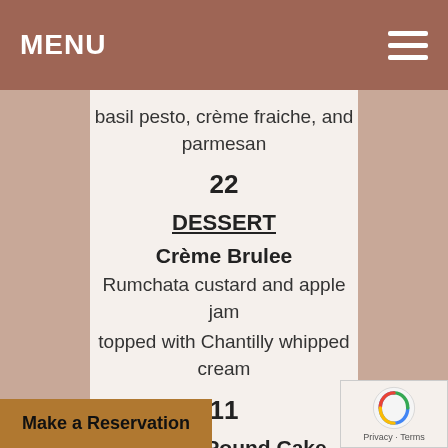MENU
basil pesto, crème fraiche, and parmesan
22
DESSERT
Crème Brulee
Rumchata custard and apple jam
topped with Chantilly whipped cream
11
Pears & Pound Cake
Champagne poached pears, cinnamon,
and vanilla bean ice cream